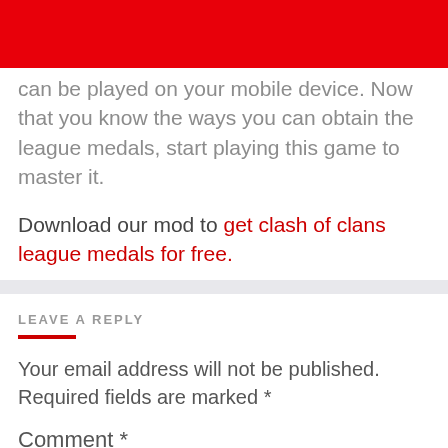can be played on your mobile device. Now that you know the ways you can obtain the league medals, start playing this game to master it.
Download our mod to get clash of clans league medals for free.
LEAVE A REPLY
Your email address will not be published. Required fields are marked *
Comment *